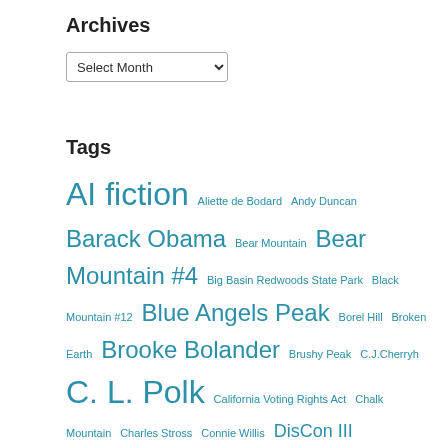Archives
Select Month (dropdown)
Tags
AI fiction Aliette de Bodard Andy Duncan Barack Obama Bear Mountain Bear Mountain #4 Big Basin Redwoods State Park Black Mountain #12 Blue Angels Peak Borel Hill Broken Earth Brooke Bolander Brushy Peak C.J.Cherryh C. L. Polk California Voting Rights Act Chalk Mountain Charles Stross Connie Willis DisCon III Eagle Peak El Sombroso Gossip Rock Greg Egan Grizzly Peak Hat Mountain Hugo Awards Isaac Asimov John Scalzi John W. Campbell Jonathan P. ...